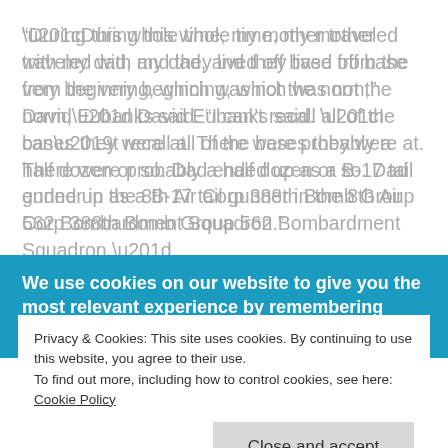“During this whole time, my mother traveled with my dad, and they lived off base from the very beginning, which was not the norm,” David Eubanks said. “I can’t recall all of the bases they were at. There were probably a half dozen or so. Dad ended up as a B-17 tail gunner in the 8th Air Corp 388th Bomb Group 562 Bombardment Squadron.”
Eubanks’ wife, Suzanne, who was married to him for 59 years before she died, followed him from base to base
We use cookies on our website to give you the most relevant experience by remembering your preferences and
Privacy & Cookies: This site uses cookies. By continuing to use this website, you agree to their use.
To find out more, including how to control cookies, see here: Cookie Policy
Close and accept